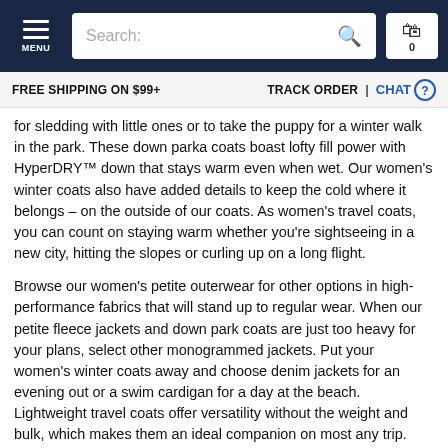MENU | Search: | 0
FREE SHIPPING ON $99+ | TRACK ORDER | CHAT
for sledding with little ones or to take the puppy for a winter walk in the park. These down parka coats boast lofty fill power with HyperDRY™ down that stays warm even when wet. Our women's winter coats also have added details to keep the cold where it belongs – on the outside of our coats. As women's travel coats, you can count on staying warm whether you're sightseeing in a new city, hitting the slopes or curling up on a long flight.
Browse our women's petite outerwear for other options in high-performance fabrics that will stand up to regular wear. When our petite fleece jackets and down park coats are just too heavy for your plans, select other monogrammed jackets. Put your women's winter coats away and choose denim jackets for an evening out or a swim cardigan for a day at the beach. Lightweight travel coats offer versatility without the weight and bulk, which makes them an ideal companion on most any trip.